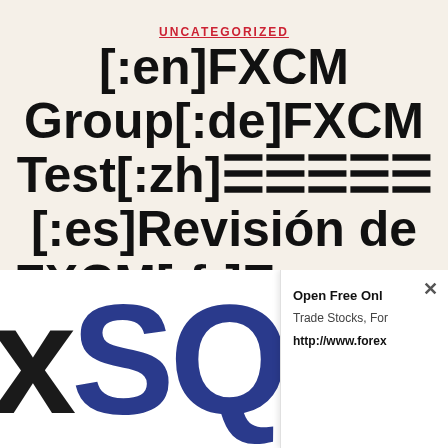UNCATEGORIZED
[:en]FXCM Group[:de]FXCM Test[:zh]▤▤▤▤▤ [:es]Revisión de FXCM[:fr]Examen
[Figure (logo): Partial logo showing large letters 'x' in dark/black and 'SQ' in dark blue, cropped at bottom of page]
Open Free Onl
Trade Stocks, For
http://www.forex